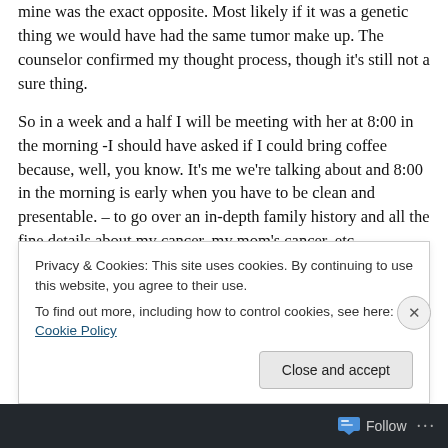mine was the exact opposite. Most likely if it was a genetic thing we would have had the same tumor make up. The counselor confirmed my thought process, though it's still not a sure thing.
So in a week and a half I will be meeting with her at 8:00 in the morning -I should have asked if I could bring coffee because, well, you know. It's me we're talking about and 8:00 in the morning is early when you have to be clean and presentable. – to go over an in-depth family history and all the fine details about my cancer, my mom's cancer, etc.
Privacy & Cookies: This site uses cookies. By continuing to use this website, you agree to their use. To find out more, including how to control cookies, see here: Cookie Policy
Close and accept
Follow ···